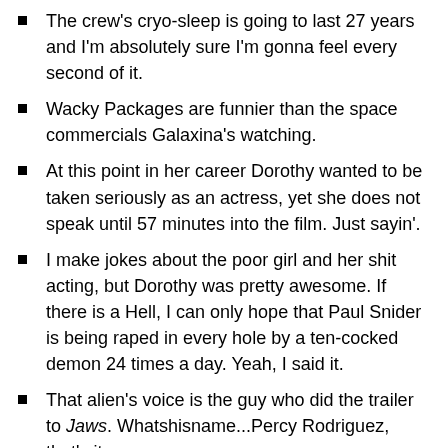The crew's cryo-sleep is going to last 27 years and I'm absolutely sure I'm gonna feel every second of it.
Wacky Packages are funnier than the space commercials Galaxina's watching.
At this point in her career Dorothy wanted to be taken seriously as an actress, yet she does not speak until 57 minutes into the film. Just sayin'.
I make jokes about the poor girl and her shit acting, but Dorothy was pretty awesome. If there is a Hell, I can only hope that Paul Snider is being raped in every hole by a ten-cocked demon 24 times a day. Yeah, I said it.
That alien's voice is the guy who did the trailer to Jaws. Whatshisname...Percy Rodriguez, that's it.
This old Asian guy's Confucius jokes are fucking abysmal.
What the fuck is Adam West's Batmobile doing on this